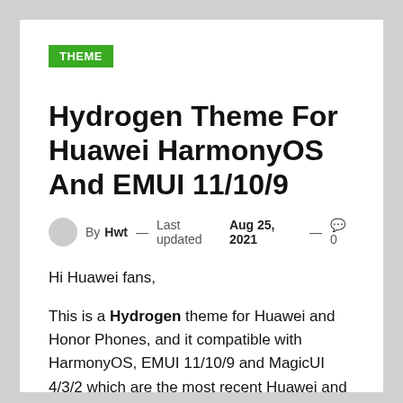THEME
Hydrogen Theme For Huawei HarmonyOS And EMUI 11/10/9
By Hwt — Last updated Aug 25, 2021 — 0
Hi Huawei fans,
This is a Hydrogen theme for Huawei and Honor Phones, and it compatible with HarmonyOS, EMUI 11/10/9 and MagicUI 4/3/2 which are the most recent Huawei and Honor phone UI. With this Hydrogen theme you can decorate your device with awesome